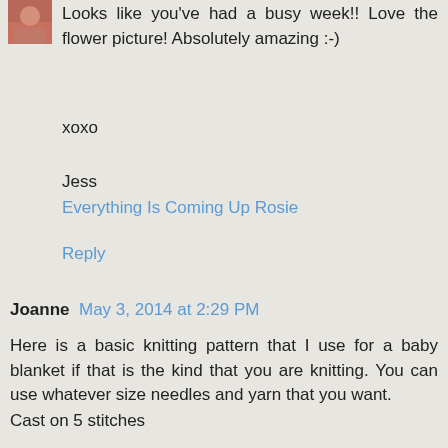[Figure (photo): Small avatar/profile photo thumbnail in top left corner]
Looks like you've had a busy week!! Love the flower picture! Absolutely amazing :-)
xoxo
Jess
Everything Is Coming Up Rosie
Reply
Joanne  May 3, 2014 at 2:29 PM
Here is a basic knitting pattern that I use for a baby blanket if that is the kind that you are knitting. You can use whatever size needles and yarn that you want.
Cast on 5 stitches
Row 1 knit
Row 2 knit(k) 3 yarn over(yo) k2
Row 3 k3 yo k3
Row 4 k3 yo k to end of row
Repeat last row until desired width